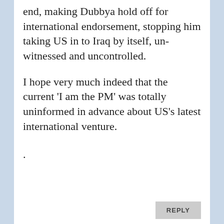end, making Dubbya hold off for international endorsement, stopping him taking US in to Iraq by itself, un-witnessed and uncontrolled.
I hope very much indeed that the current 'I am the PM' was totally uninformed in advance about US's latest international venture.
.
REPLY